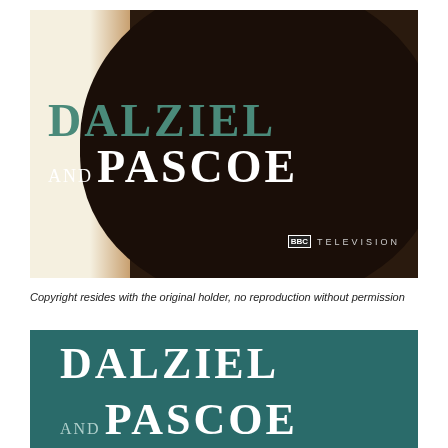[Figure (photo): Book or DVD cover for 'Dalziel and Pascoe' BBC Television. Dark brown background with a silhouetted head/figure, cream left margin, teal/green large text 'DALZIEL' and white text 'AND PASCOE', with BBC Television logo in lower right.]
Copyright resides with the original holder, no reproduction without permission
[Figure (photo): Second cover variant for 'Dalziel and Pascoe' — teal/dark green background with large white serif text 'DALZIEL' and 'AND PASCOE' partially visible.]